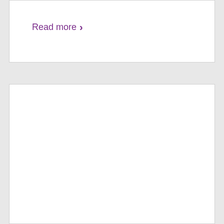Read more
[Figure (other): Empty white card panel below the Read more section]